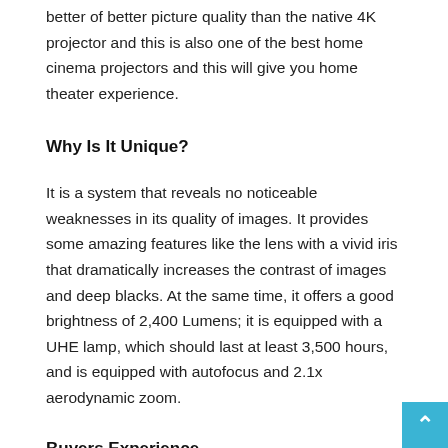better or better picture quality than the native 4K projector and this is also one of the best home cinema projectors and this will give you home theater experience.
Why Is It Unique?
It is a system that reveals no noticeable weaknesses in its quality of images. It provides some amazing features like the lens with a vivid iris that dramatically increases the contrast of images and deep blacks. At the same time, it offers a good brightness of 2,400 Lumens; it is equipped with a UHE lamp, which should last at least 3,500 hours, and is equipped with autofocus and 2.1x aerodynamic zoom.
Buyers Experience –
Buyers were highly excited about buying this new type of projector. Their reviews after using it were quite positive as well.